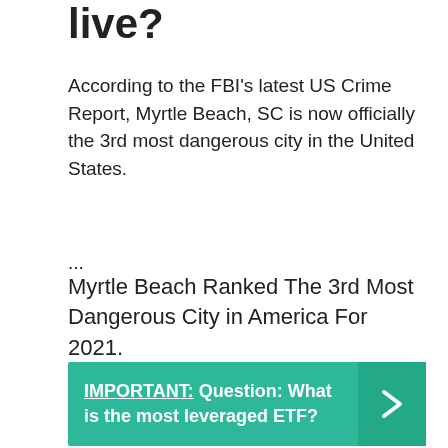live?
According to the FBI's latest US Crime Report, Myrtle Beach, SC is now officially the 3rd most dangerous city in the United States.
...
Myrtle Beach Ranked The 3rd Most Dangerous City in America For 2021.
[Figure (infographic): Teal banner with bold text: IMPORTANT: Question: What is the most leveraged ETF? with a right-arrow chevron on the right side.]
| City | Myrtle Beach |
| --- | --- |
| State | SC |
| Population | 34,860 |